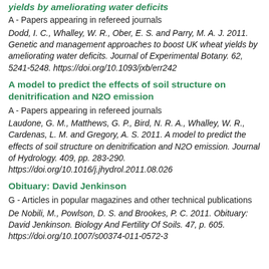yields by ameliorating water deficits
A - Papers appearing in refereed journals
Dodd, I. C., Whalley, W. R., Ober, E. S. and Parry, M. A. J. 2011. Genetic and management approaches to boost UK wheat yields by ameliorating water deficits. Journal of Experimental Botany. 62, 5241-5248. https://doi.org/10.1093/jxb/err242
A model to predict the effects of soil structure on denitrification and N2O emission
A - Papers appearing in refereed journals
Laudone, G. M., Matthews, G. P., Bird, N. R. A., Whalley, W. R., Cardenas, L. M. and Gregory, A. S. 2011. A model to predict the effects of soil structure on denitrification and N2O emission. Journal of Hydrology. 409, pp. 283-290. https://doi.org/10.1016/j.jhydrol.2011.08.026
Obituary: David Jenkinson
G - Articles in popular magazines and other technical publications
De Nobili, M., Powlson, D. S. and Brookes, P. C. 2011. Obituary: David Jenkinson. Biology And Fertility Of Soils. 47, p. 605. https://doi.org/10.1007/s00374-011-0572-3